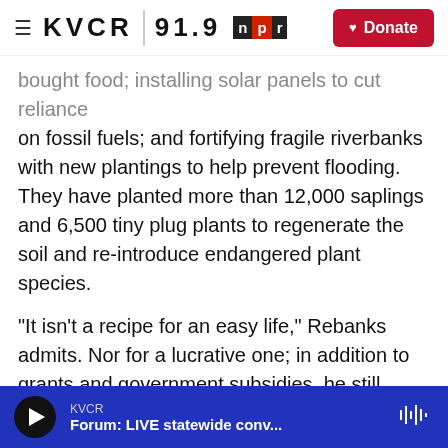≡ KVCR 91.9 npr | Donate
bought food; installing solar panels to cut reliance on fossil fuels; and fortifying fragile riverbanks with new plantings to help prevent flooding. They have planted more than 12,000 saplings and 6,500 tiny plug plants to regenerate the soil and re-introduce endangered plant species.
"It isn't a recipe for an easy life," Rebanks admits. Nor for a lucrative one; in addition to grants and government subsidies, he still needs a source of income outside the farm, which presumably comes from his writing. But he hopes that his four children and their descendents will be proud of "the generation that pulled things back from the abyss..."
KVCR | Forum: LIVE statewide conv...